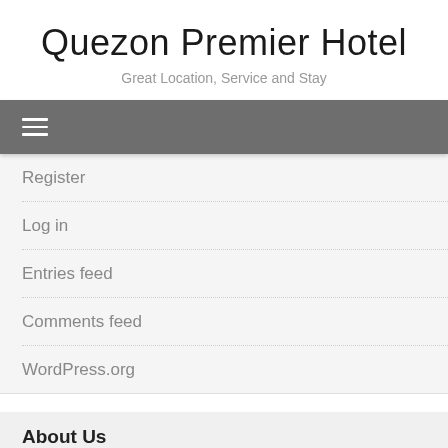Quezon Premier Hotel
Great Location, Service and Stay
[Figure (other): Navigation bar with hamburger menu icon (three horizontal lines) on grey background]
Register
Log in
Entries feed
Comments feed
WordPress.org
About Us